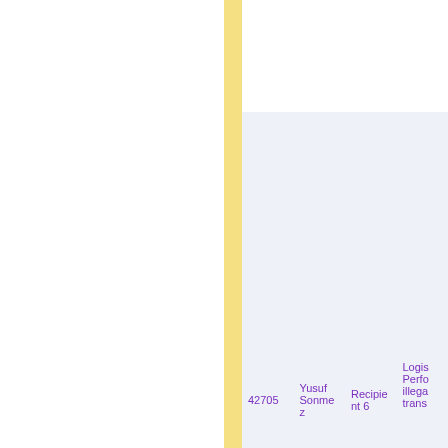| ID | Name | Role | Description |
| --- | --- | --- | --- |
| 42705 | Yusuf Sonmez | Recipient 6 | Logis Perfo illega trans |